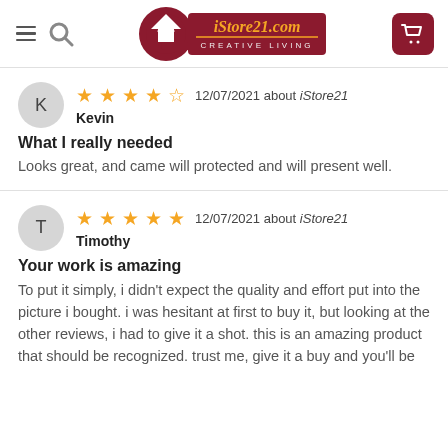[Figure (logo): iStore21.com Creative Living logo — dark red key-shaped icon with white house silhouette, gold text iStore21.com, tagline CREATIVE LIVING]
12/07/2021 about iStore21
Kevin
What I really needed
Looks great, and came will protected and will present well.
12/07/2021 about iStore21
Timothy
Your work is amazing
To put it simply, i didn't expect the quality and effort put into the picture i bought. i was hesitant at first to buy it, but looking at the other reviews, i had to give it a shot. this is an amazing product that should be recognized. trust me, give it a buy and you'll be